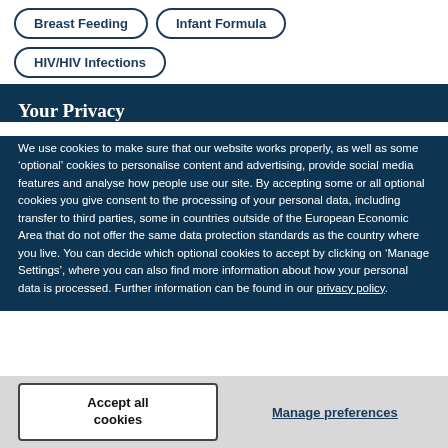Breast Feeding
Infant Formula
HIV/HIV Infections
Your Privacy
We use cookies to make sure that our website works properly, as well as some ‘optional’ cookies to personalise content and advertising, provide social media features and analyse how people use our site. By accepting some or all optional cookies you give consent to the processing of your personal data, including transfer to third parties, some in countries outside of the European Economic Area that do not offer the same data protection standards as the country where you live. You can decide which optional cookies to accept by clicking on ‘Manage Settings’, where you can also find more information about how your personal data is processed. Further information can be found in our privacy policy.
Accept all cookies
Manage preferences